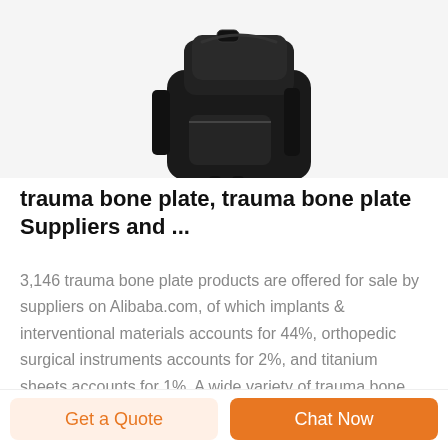[Figure (photo): Partial view of a black tactical/military-style backpack or vest with straps and pouches visible against a white background.]
trauma bone plate, trauma bone plate Suppliers and ...
3,146 trauma bone plate products are offered for sale by suppliers on Alibaba.com, of which implants & interventional materials accounts for 44%, orthopedic surgical instruments accounts for 2%, and titanium sheets accounts for 1%. A wide variety of trauma bone plate options are available to you,
Get a Quote
Chat Now